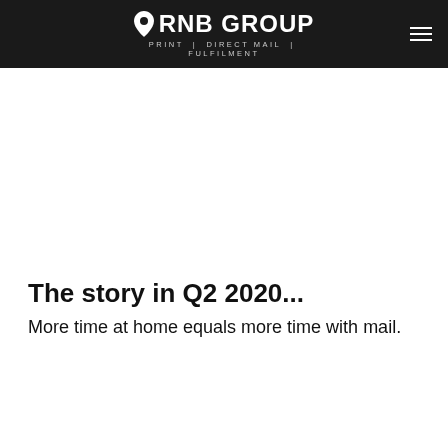RNB GROUP PRINT | DIRECT MAIL | FULFILMENT
The story in Q2 2020...
More time at home equals more time with mail.